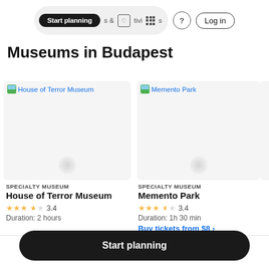Start planning  & Activities  ?  Log in
Museums in Budapest
[Figure (screenshot): Card image placeholder for House of Terror Museum with broken image icon and blue link text]
SPECIALTY MUSEUM
House of Terror Museum
★★★½☆ 3.4
Duration: 2 hours
[Figure (screenshot): Card image placeholder for Memento Park with broken image icon and blue link text]
SPECIALTY MUSEUM
Memento Park
★★★½☆ 3.4
Duration: 1h 30 min
Buy tickets from $8 ›
Start planning